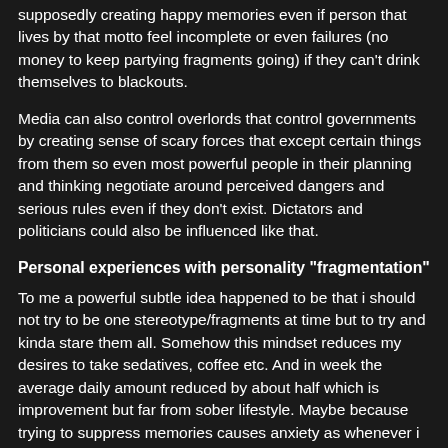supposedly creating happy memories even if person that lives by that motto feel incomplete or even failures (no money to keep partying fragments going) if they can't drink themselves to blackouts.
Media can also control overlords that control governments by creating sense of scary forces that except certain things from them so even most powerful people in their planning and thinking negotiate around perceived dangers and serious rules even if they don't exist. Dictators and politicians could also be influenced like that.
Personal experiences with personality "fragmentation"
To me a powerful subtle idea happened to be that i should not try to be one stereotype/fragments at time but to try and kinda stare them all. Somehow this mindset reduces my desires to take sedatives, coffee etc. And in week the average daily amount reduced by about half which is improvement but far from sober lifestyle. Maybe because trying to suppress memories causes anxiety as whenever i